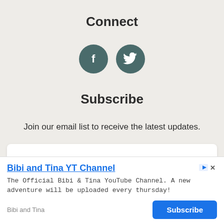Connect
[Figure (illustration): Two circular dark teal social media icons: Facebook (f) and Twitter (bird) side by side]
Subscribe
Join our email list to receive the latest updates.
Your email address
Bibi and Tina YT Channel
The Official Bibi & Tina YouTube Channel. A new adventure will be uploaded every thursday!
Bibi and Tina
Subscribe